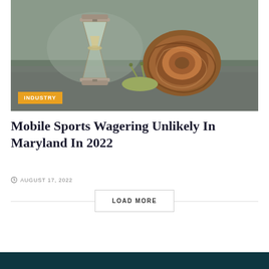[Figure (photo): A snail next to an hourglass on a grey surface, with an orange 'INDUSTRY' badge overlaid at the bottom left]
Mobile Sports Wagering Unlikely In Maryland In 2022
AUGUST 17, 2022
LOAD MORE